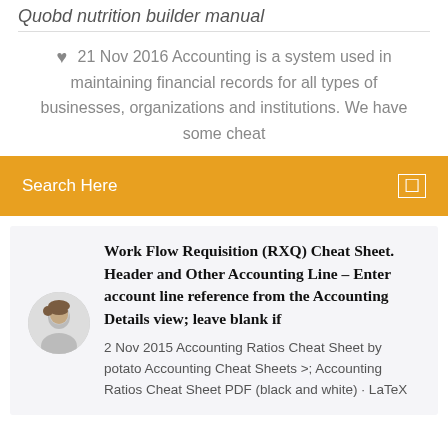Quobd nutrition builder manual
21 Nov 2016 Accounting is a system used in maintaining financial records for all types of businesses, organizations and institutions. We have some cheat
Search Here
Work Flow Requisition (RXQ) Cheat Sheet. Header and Other Accounting Line – Enter account line reference from the Accounting Details view; leave blank if
2 Nov 2015 Accounting Ratios Cheat Sheet by potato Accounting Cheat Sheets >; Accounting Ratios Cheat Sheet PDF (black and white) · LaTeX